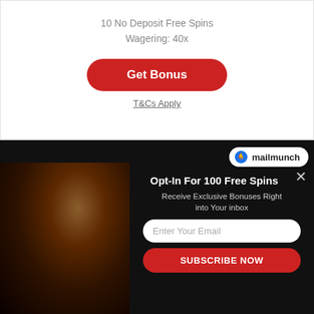10 No Deposit Free Spins
Wagering: 40x
Get Bonus
T&Cs Apply
[Figure (logo): Mailmunch logo badge with flame icon and text 'mailmunch']
[Figure (photo): Dark horror themed image of a figure on the left side of the popup]
Opt-In For 100 Free Spins
Receive Exclusive Bonuses Right into Your inbox
Enter Your Email
SUBSCRIBE NOW